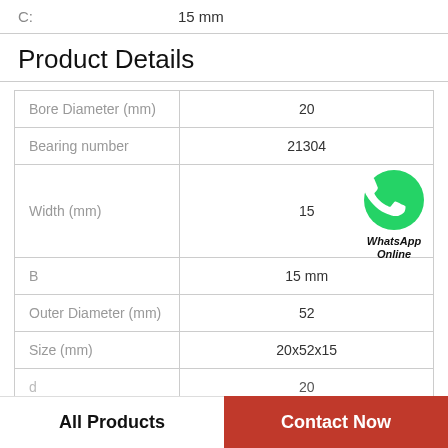C: 15 mm
Product Details
| Property | Value |
| --- | --- |
| Bore Diameter (mm) | 20 |
| Bearing number | 21304 |
| Width (mm) | 15 |
| B | 15 mm |
| Outer Diameter (mm) | 52 |
| Size (mm) | 20x52x15 |
| d | 20 |
[Figure (logo): WhatsApp green circle icon with phone handset, with text 'WhatsApp Online' in bold italic below]
All Products | Contact Now